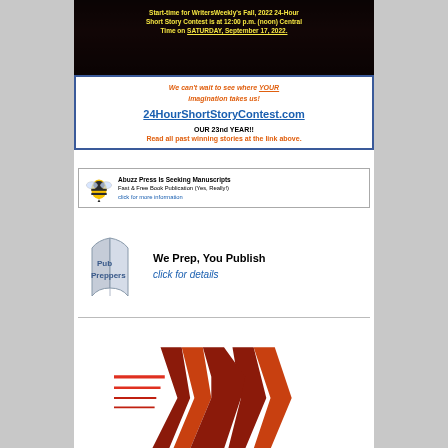[Figure (illustration): Dark banner with text overlay: WritersWeekly Fall 2022 24-Hour Short Story Contest start time announcement in yellow and orange text]
[Figure (infographic): Contest promotional box: orange italic text 'We can't wait to see where YOUR imagination takes us!', blue underlined link '24HourShortStoryContest.com', black bold 'OUR 23nd YEAR!!', orange 'Read all past winning stories at the link above.']
[Figure (logo): Abuzz Press banner ad: bee logo, bold text 'Abuzz Press Is Seeking Manuscripts', 'Fast & Free Book Publication (Yes, Really!)', blue 'click for more information']
[Figure (logo): Pub Preppers advertisement: book logo on left, 'We Prep, You Publish' in bold black, 'click for details' in blue italic]
[Figure (logo): WritersWeekly stylized W logo in red, orange and dark red colors with speed lines]